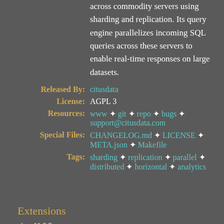across commodity servers using sharding and replication. Its query engine parallelizes incoming SQL queries across these servers to enable real-time responses on large datasets.
Released By: citusdata
License: AGPL 3
Resources: www ✦ git ✦ repo ✦ bugs ✦ support@citusdata.com
Special Files: CHANGELOG.md ✦ LICENSE ✦ META.json ✦ Makefile
Tags: sharding ✦ replication ✦ parallel ✦ distributed ✦ horizontal ✦ analytics
Extensions
citus 11.0.3